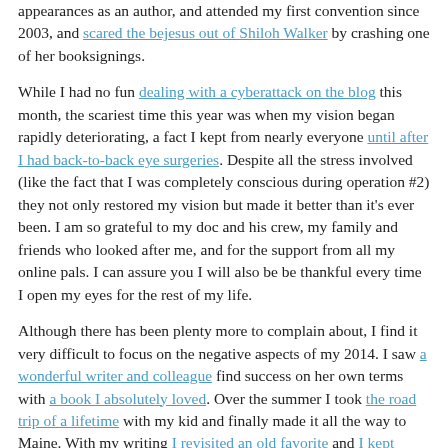appearances as an author, and attended my first convention since 2003, and scared the bejesus out of Shiloh Walker by crashing one of her booksignings.
While I had no fun dealing with a cyberattack on the blog this month, the scariest time this year was when my vision began rapidly deteriorating, a fact I kept from nearly everyone until after I had back-to-back eye surgeries. Despite all the stress involved (like the fact that I was completely conscious during operation #2) they not only restored my vision but made it better than it's ever been. I am so grateful to my doc and his crew, my family and friends who looked after me, and for the support from all my online pals. I can assure you I will also be be thankful every time I open my eyes for the rest of my life.
Although there has been plenty more to complain about, I find it very difficult to focus on the negative aspects of my 2014. I saw a wonderful writer and colleague find success on her own terms with a book I absolutely loved. Over the summer I took the road trip of a lifetime with my kid and finally made it all the way to Maine. With my writing I revisited an old favorite and I kept writing in a universe I love